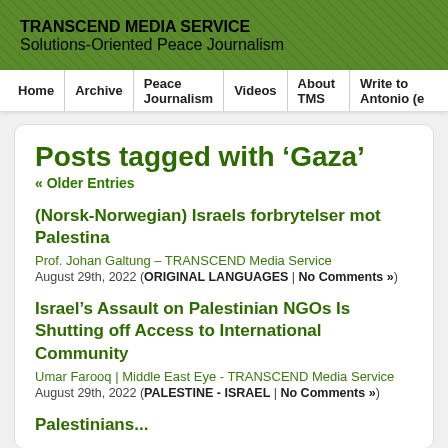TRANSCEND MEDIA SERVICE
Solutions-Oriented Peace Journalism
Posts tagged with ‘Gaza’
« Older Entries
(Norsk-Norwegian) Israels forbrytelser mot Palestina
Prof. Johan Galtung – TRANSCEND Media Service
August 29th, 2022 ( ORIGINAL LANGUAGES | No Comments »)
Israel’s Assault on Palestinian NGOs Is Shutting off Access to International Community
Umar Farooq | Middle East Eye - TRANSCEND Media Service
August 29th, 2022 ( PALESTINE - ISRAEL | No Comments »)
Palestinians...